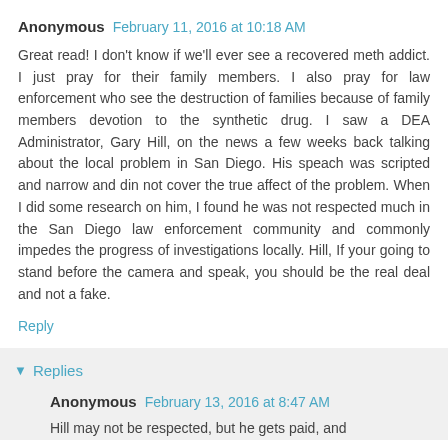Anonymous  February 11, 2016 at 10:18 AM
Great read! I don't know if we'll ever see a recovered meth addict. I just pray for their family members. I also pray for law enforcement who see the destruction of families because of family members devotion to the synthetic drug. I saw a DEA Administrator, Gary Hill, on the news a few weeks back talking about the local problem in San Diego. His speach was scripted and narrow and din not cover the true affect of the problem. When I did some research on him, I found he was not respected much in the San Diego law enforcement community and commonly impedes the progress of investigations locally. Hill, If your going to stand before the camera and speak, you should be the real deal and not a fake.
Reply
Replies
Anonymous  February 13, 2016 at 8:47 AM
Hill may not be respected, but he gets paid, and